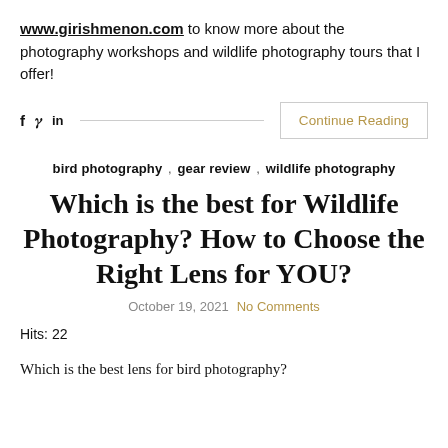www.girishmenon.com to know more about the photography workshops and wildlife photography tours that I offer!
f  y  in  [social share bar with Continue Reading button]
bird photography , gear review , wildlife photography
Which is the best for Wildlife Photography? How to Choose the Right Lens for YOU?
October 19, 2021  No Comments
Hits: 22
Which is the best lens for bird photography?